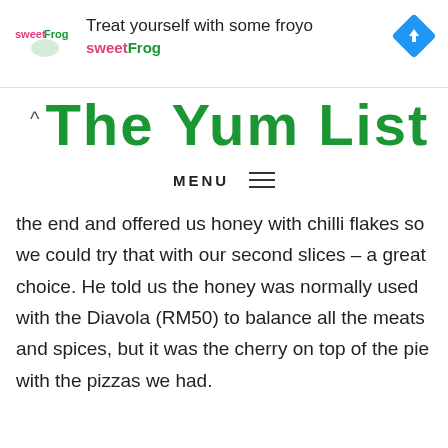[Figure (screenshot): sweetFrog advertisement banner with logo, text 'Treat yourself with some froyo' and 'sweetFrog', and a blue navigation arrow icon]
The Yum List
MENU ≡
the end and offered us honey with chilli flakes so we could try that with our second slices – a great choice. He told us the honey was normally used with the Diavola (RM50) to balance all the meats and spices, but it was the cherry on top of the pie with the pizzas we had.